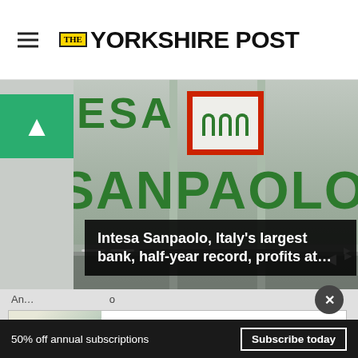THE YORKSHIRE POST
[Figure (photo): Intesa Sanpaolo bank branch exterior showing green INTESA and SANPAOLO lettering with red-bordered logo]
Intesa Sanpaolo, Italy's largest bank, half-year record, profits at...
An... ...o Mr... further strain by his reluctance to now honour
[Figure (other): Advertisement: Build Nuclear Now - Clean. Secure. Homegrown. Open button]
50% off annual subscriptions  Subscribe today